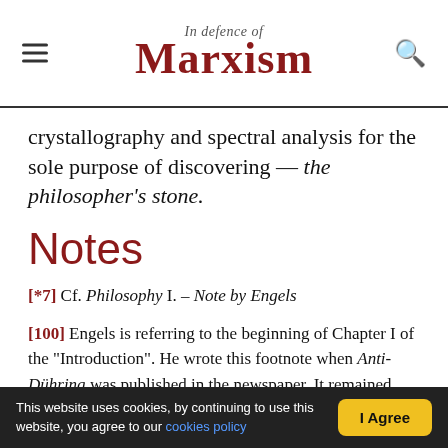In Defence of Marxism
crystallography and spectral analysis for the sole purpose of discovering — the philosopher's stone.
Notes
[*7] Cf. Philosophy I. – Note by Engels
[100] Engels is referring to the beginning of Chapter I of the "Introduction". He wrote this footnote when Anti-Dühring was published in the newspaper. It remained unchanged in all editions of the book published during Engels' lifetime. In all subsequent separate editions, the first two chapters were joined together under the heading "Introduction". The numbers of the other chapters were not changed, so
This website uses cookies, by continuing to use this website, you agree to our cookies policy  I Agree